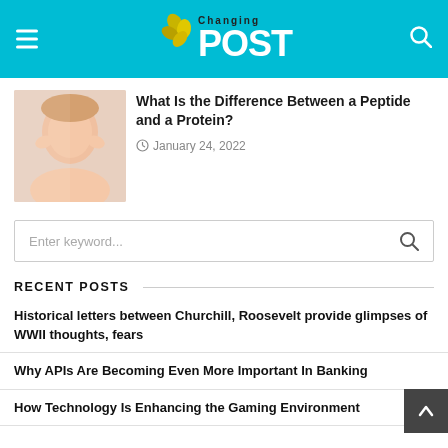Changing POST
What Is the Difference Between a Peptide and a Protein?
January 24, 2022
RECENT POSTS
Historical letters between Churchill, Roosevelt provide glimpses of WWII thoughts, fears
Why APIs Are Becoming Even More Important In Banking
How Technology Is Enhancing the Gaming Environment